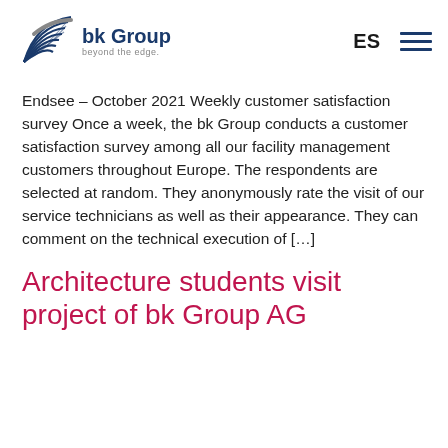bk Group – beyond the edge. ES
Endsee – October 2021 Weekly customer satisfaction survey Once a week, the bk Group conducts a customer satisfaction survey among all our facility management customers throughout Europe. The respondents are selected at random. They anonymously rate the visit of our service technicians as well as their appearance. They can comment on the technical execution of […]
Architecture students visit project of bk Group AG